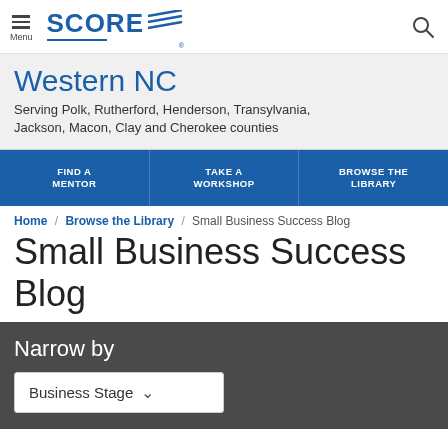Menu | SCORE | [search icon]
Western NC
Serving Polk, Rutherford, Henderson, Transylvania, Jackson, Macon, Clay and Cherokee counties
FIND A MENTOR | TAKE A WORKSHOP | BROWSE THE LIBRARY
Home / Browse the Library / Small Business Success Blog
Small Business Success Blog
Narrow by
Business Stage ∨